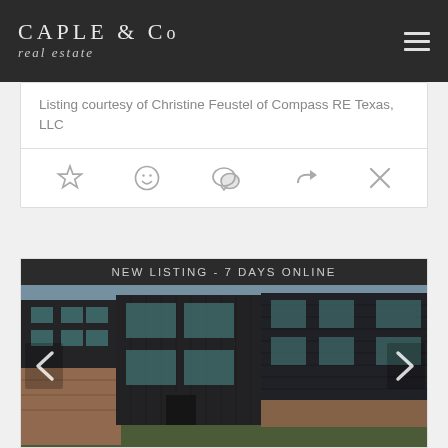CAPLE & Co real estate
Listing courtesy of Christine Feustel of Compass RE Texas, LLC
[Figure (screenshot): Icon row with star, smiley face, chat bubble, share arrow, and close (X) icons]
NEW LISTING - 7 DAYS ONLINE
[Figure (photo): Exterior photo of modern dark-sided townhouses with brick lower level, multiple stories, and windows, with left and right navigation arrows]